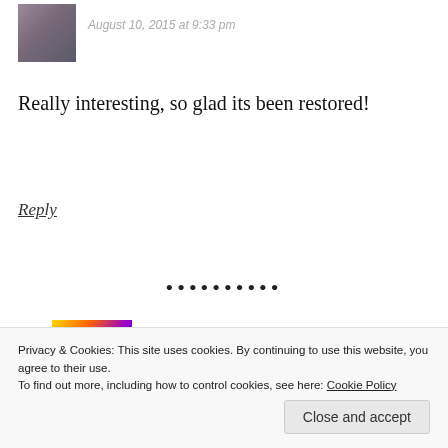[Figure (photo): Small avatar photo of a person, partially visible at top left]
August 10, 2015 at 9:33 pm
Really interesting, so glad its been restored!
Reply
• • • • • • • • •
[Figure (photo): Avatar photo of Marianne with colorful psychedelic colors]
Marianne
August 10, 2015 at 11:24 pm
Privacy & Cookies: This site uses cookies. By continuing to use this website, you agree to their use.
To find out more, including how to control cookies, see here: Cookie Policy
Close and accept